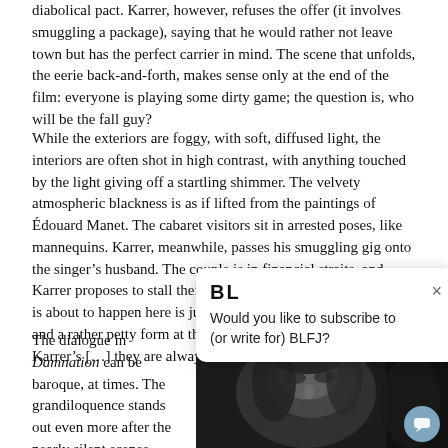diabolical pact. Karrer, however, refuses the offer (it involves smuggling a package), saying that he would rather not leave town but has the perfect carrier in mind. The scene that unfolds, the eerie back-and-forth, makes sense only at the end of the film: everyone is playing some dirty game; the question is, who will be the fall guy?
While the exteriors are foggy, with soft, diffused light, the interiors are often shot in high contrast, with anything touched by the light giving off a startling shimmer. The velvety atmospheric blackness is as if lifted from the paintings of Édouard Manet. The cabaret visitors sit in arrested poses, like mannequins. Karrer, meanwhile, passes his smuggling gig onto the singer’s husband. The couple is in financial straits, and Karrer proposes to stall their descent into financial ruin: “What is about to happen here is just one of the million forms of ruin, and a rather petty form at that.” We get the first glimpse of Karrer’s [text continues] they are always stories of disin[tegration]
The dialogue in Damnation can be baroque, at times. The grandiloquence stands out even more after the nearly silent scenes, where images advance the story. The lines could be grating if their delivery weren’t so
[Figure (screenshot): Popup overlay showing 'BL' logo and text: 'Would you like to subscribe to (or write for) BLFJ?' with a close (x) button]
[Figure (photo): Black and white close-up photograph of a woman's face with dark, dramatic lighting, partially visible from the right side of the page]